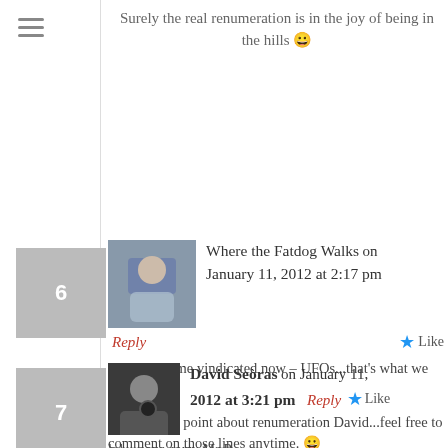Surely the real renumeration is in the joy of being in the hills 😀
Where the Fatdog Walks on January 11, 2012 at 2:17 pm
Reply
Like
See! That's me vindicated now – UFOs...that's what we want! 😉
A very good point about renumeration David...feel free to comment on those lines anytime. 😀
David Seòras on January 11, 2012 at 3:21 pm
Reply
Like
lol... oops sorry Mr P